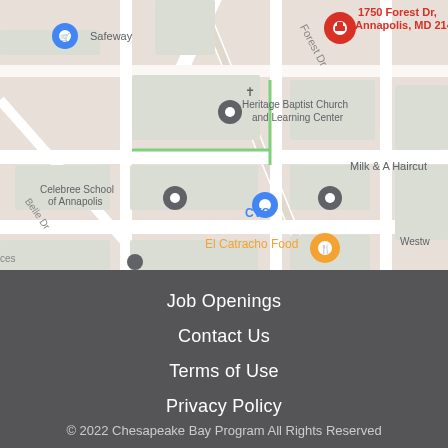[Figure (map): Google Maps screenshot showing area around 1750 Forest Dr, Annapolis, MD 21401. Visible landmarks include Heritage Baptist Church and Learning Center, Celebree School of Annapolis, CVS, Milk & A Haircut, El Catracho Food, Safeway, and partial labels for Westwood and Creative G Learning Pantry. Street labels include Forest Dr and Belle Dr.]
Job Openings
Contact Us
Terms of Use
Privacy Policy
© 2022 Chesapeake Bay Program All Rights Reserved